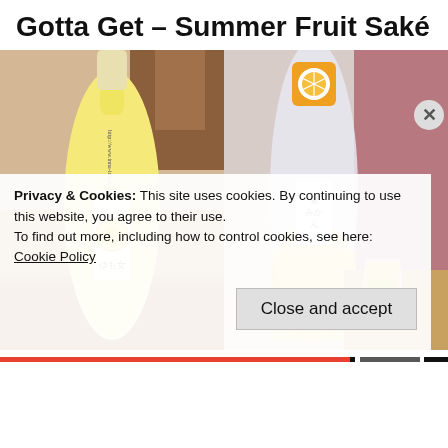Gotta Get – Summer Fruit Saké
[Figure (photo): Two bottles of fruit sake side by side. Left bottle is yellow (yuzu/lemon flavor) with a round lemon label. Right bottle is frosted/clear with an orange citrus label on top, next to a glass of yellow liquid on a wooden surface.]
Privacy & Cookies: This site uses cookies. By continuing to use this website, you agree to their use.
To find out more, including how to control cookies, see here: Cookie Policy
Close and accept